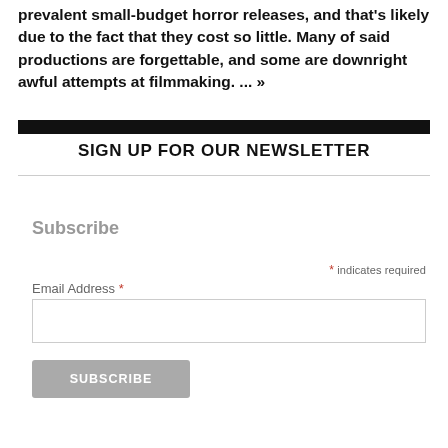prevalent small-budget horror releases, and that's likely due to the fact that they cost so little. Many of said productions are forgettable, and some are downright awful attempts at filmmaking. ... >>
SIGN UP FOR OUR NEWSLETTER
Subscribe
* indicates required
Email Address *
SUBSCRIBE